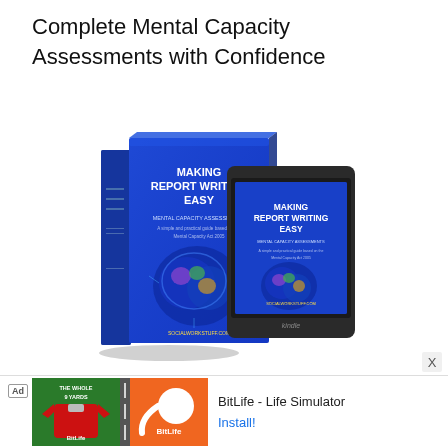Complete Mental Capacity Assessments with Confidence
[Figure (illustration): A 3D physical book and a Kindle e-reader both showing the cover of 'Making Report Writing Easy - Mental Capacity Assessments', featuring a glowing brain graphic on a blue background, with the URL socialworkstuff.com at the bottom.]
BitLife - Life Simulator
Install!